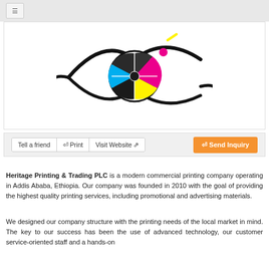[Figure (logo): Heritage Printing & Trading PLC logo: a stylized eye with CMYK color wheel (cyan, magenta, yellow, black) as the iris, black swooping lines forming eyelid shapes, with a small magenta dot and yellow accent]
Tell a friend  Print  Visit Website   Send Inquiry
Heritage Printing & Trading PLC is a modern commercial printing company operating in Addis Ababa, Ethiopia. Our company was founded in 2010 with the goal of providing the highest quality printing services, including promotional and advertising materials.
We designed our company structure with the printing needs of the local market in mind. The key to our success has been the use of advanced technology, our customer service-oriented staff and a hands-on